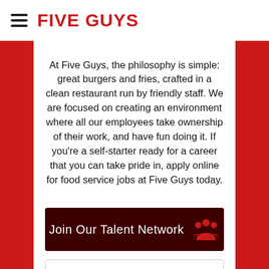FIVE GUYS
At Five Guys, the philosophy is simple: great burgers and fries, crafted in a clean restaurant run by friendly staff. We are focused on creating an environment where all our employees take ownership of their work, and have fun doing it. If you're a self-starter ready for a career that you can take pride in, apply online for food service jobs at Five Guys today.
[Figure (other): Dark red button with text 'Join Our Talent Network' and a red people/group icon]
[Figure (other): Glassdoor rating box showing 3.7 with green star rating and text 'Reviews and Ratings on glassdoor']